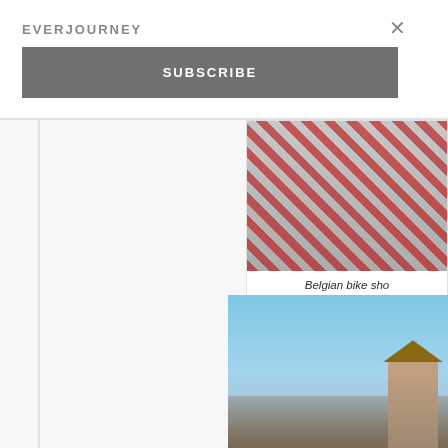EVERJOURNEY
×
SUBSCRIBE
[Figure (photo): Belgian bike shop interior showing merchandise hanging on display racks, viewed partially on the right side of the page]
Belgian bike sho
[Figure (photo): Cyclists and crowd gathered on a Belgian street during a bike race, with buildings and trees visible in the background]